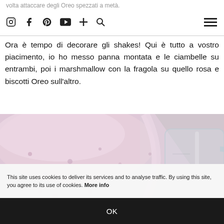volta attaccare degli Oreo spezzati a metà.
Ora è tempo di decorare gli shakes! Qui è tutto a vostro piacimento, io ho messo panna montata e le ciambelle su entrambi, poi i marshmallow con la fragola su quello rosa e biscotti Oreo sull'altro.
[Figure (photo): Pink milkshake being poured from a blender/pitcher into a glass mason jar mug. The liquid is a creamy pink color with bubbles, photographed close-up against a light background.]
This site uses cookies to deliver its services and to analyse traffic. By using this site, you agree to its use of cookies. More info
OK